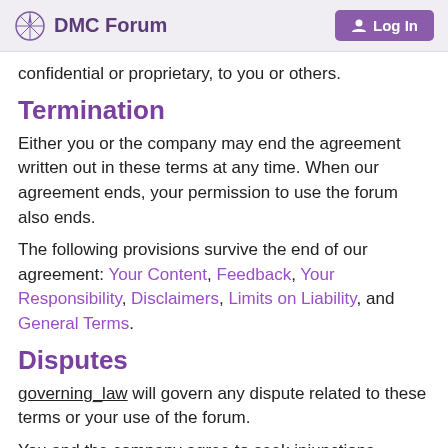DMC Forum | Log In
confidential or proprietary, to you or others.
Termination
Either you or the company may end the agreement written out in these terms at any time. When our agreement ends, your permission to use the forum also ends.
The following provisions survive the end of our agreement: Your Content, Feedback, Your Responsibility, Disclaimers, Limits on Liability, and General Terms.
Disputes
governing_law will govern any dispute related to these terms or your use of the forum.
You and the company agree to seek injunctions related to these terms only in state or federal court in city_for_disputes. Neither you nor the company will object to jurisdiction